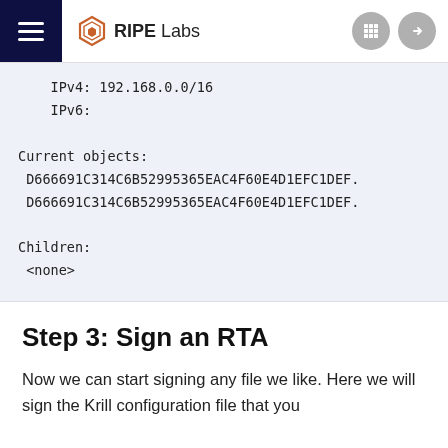RIPE Labs
IPv4: 192.168.0.0/16
IPv6:

Current objects:
D666691C314C6B52995365EAC4F60E4D1EFC1DEF.
D666691C314C6B52995365EAC4F60E4D1EFC1DEF.

Children:
<none>
Step 3: Sign an RTA
Now we can start signing any file we like. Here we will sign the Krill configuration file that you